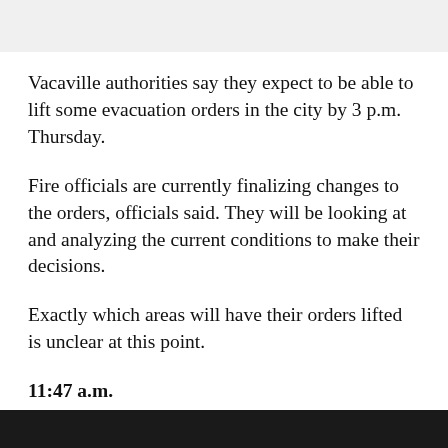Vacaville authorities say they expect to be able to lift some evacuation orders in the city by 3 p.m. Thursday.
Fire officials are currently finalizing changes to the orders, officials said. They will be looking at and analyzing the current conditions to make their decisions.
Exactly which areas will have their orders lifted is unclear at this point.
11:47 a.m.